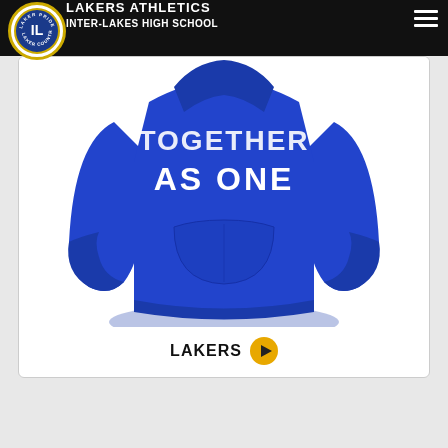LAKERS ATHLETICS INTER-LAKES HIGH SCHOOL
[Figure (photo): Blue hoodie sweatshirt with white text reading 'TOGETHER AS ONE', displayed on a white background inside a card with rounded corners. Below the hoodie image is the label 'LAKERS' with a yellow play button icon.]